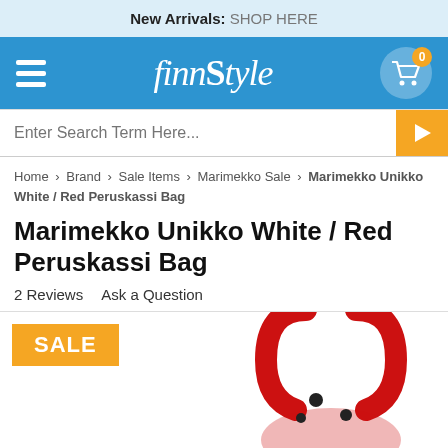New Arrivals: SHOP HERE
[Figure (logo): FinnStyle logo and navigation bar with hamburger menu and shopping cart]
Enter Search Term Here...
Home > Brand > Sale Items > Marimekko Sale > Marimekko Unikko White / Red Peruskassi Bag
Marimekko Unikko White / Red Peruskassi Bag
2 Reviews   Ask a Question
[Figure (photo): Product image showing Marimekko Unikko White/Red Peruskassi Bag with red handles and black dot pattern. Orange SALE badge in top left corner.]